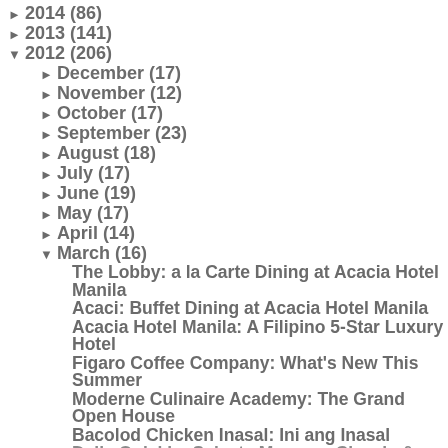► 2014 (86)
► 2013 (141)
▼ 2012 (206)
► December (17)
► November (12)
► October (17)
► September (23)
► August (18)
► July (17)
► June (19)
► May (17)
► April (14)
▼ March (16)
The Lobby: a la Carte Dining at Acacia Hotel Manila
Acaci: Buffet Dining at Acacia Hotel Manila
Acacia Hotel Manila: A Filipino 5-Star Luxury Hotel
Figaro Coffee Company: What's New This Summer
Moderne Culinaire Academy: The Grand Open House
Bacolod Chicken Inasal: Ini ang Inasal
Daily Quickie: Selecta Magnum Classic & Almond